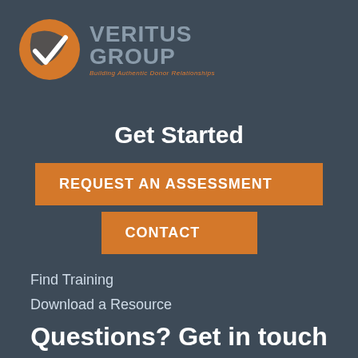[Figure (logo): Veritus Group logo with orange swoosh/checkmark emblem and gray company name text, tagline: Building Authentic Donor Relationships]
Get Started
REQUEST AN ASSESSMENT
CONTACT
Find Training
Download a Resource
Questions? Get in touch